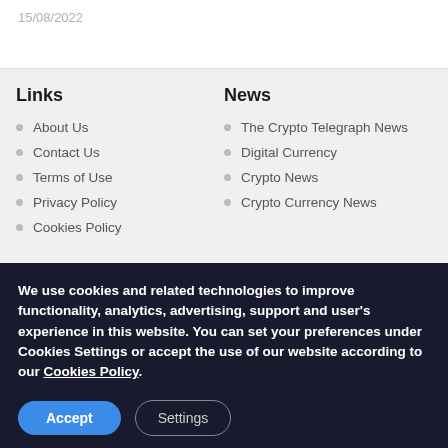15/08/2022
Links
About Us
Contact Us
Terms of Use
Privacy Policy
Cookies Policy
News
The Crypto Telegraph News
Digital Currency
Crypto News
Crypto Currency News
We use cookies and related technologies to improve functionality, analytics, advertising, support and user's experience in this website. You can set your preferences under Cookies Settings or accept the use of our website according to our Cookies Policy.
(OT) $0.122918 ↓ -4.28% | Dev Protocol(DEV) $1.76 ↓ -16.14%